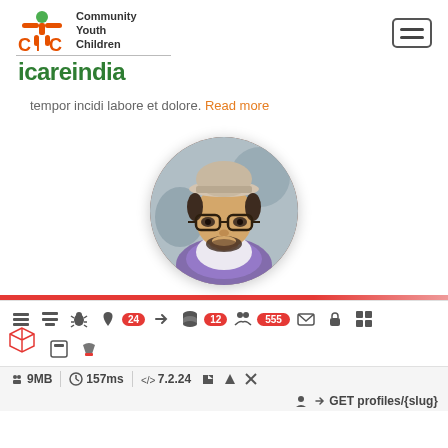[Figure (logo): icareindia Community Youth Children logo with orange and green icon and green icareindia wordmark]
tempor incidi labore et dolore. Read more
[Figure (photo): Circular profile photo of a young man with glasses, beard, and a hat]
[Figure (screenshot): Debug toolbar with icons and badges showing counts 24, 12, 555]
9MB  157ms  7.2.24
GET profiles/{slug}